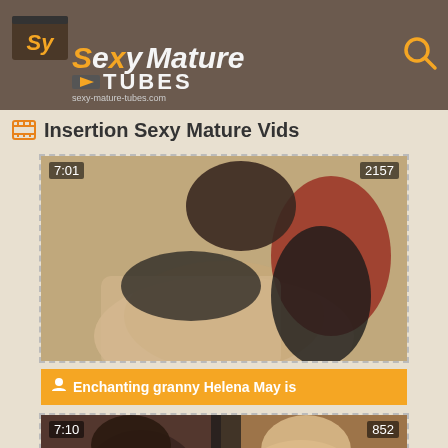Sexy Mature TUBES - sexy-mature-tubes.com
Insertion Sexy Mature Vids
[Figure (photo): Video thumbnail showing mature woman, duration 7:01, 2157 views]
Enchanting granny Helena May is
[Figure (photo): Video thumbnail showing two women, duration 7:10, 852 views]